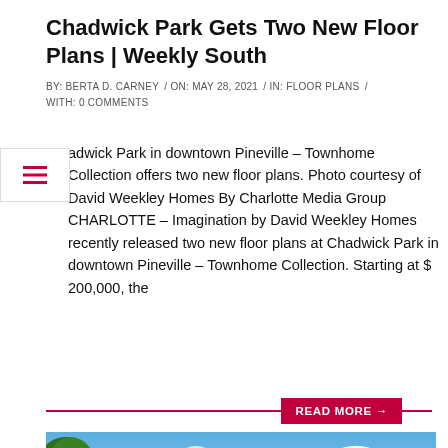Chadwick Park Gets Two New Floor Plans | Weekly South
BY: BERTA D. CARNEY / ON: MAY 28, 2021 / IN: FLOOR PLANS / WITH: 0 COMMENTS
Chadwick Park in downtown Pineville – Townhome Collection offers two new floor plans. Photo courtesy of David Weekley Homes By Charlotte Media Group CHARLOTTE – Imagination by David Weekley Homes recently released two new floor plans at Chadwick Park in downtown Pineville – Townhome Collection. Starting at $ 200,000, the
READ MORE →
[Figure (photo): Exterior photograph of a large colonial-style house with gray-blue siding, multiple dormers, and a blue sky with clouds in the background, trees visible on the left.]